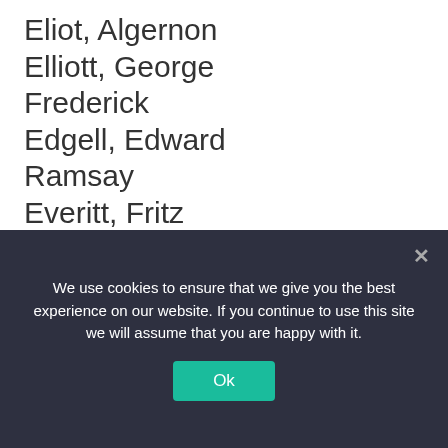Eliot, Algernon
Elliott, George Frederick
Edgell, Edward Ramsay
Everitt, Fritz
Eyre, Arthur
Ferguson, Francis William
Finucane, Edward F. E.
Fletcher, Francis Charles
We use cookies to ensure that we give you the best experience on our website. If you continue to use this site we will assume that you are happy with it. Ok